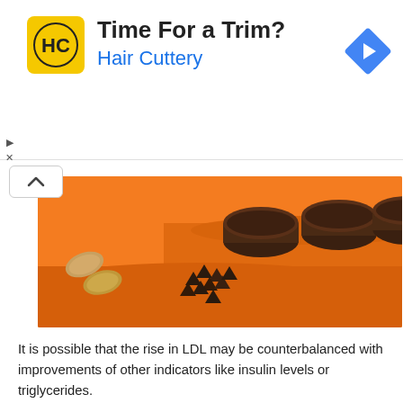[Figure (other): Hair Cuttery advertisement banner with yellow logo showing 'HC', text 'Time For a Trim?' and 'Hair Cuttery' in blue, and a blue diamond navigation arrow icon on the right.]
[Figure (photo): Orange background food photography showing almonds, chocolate chips, and chocolate brownie rounds/pucks arranged on tiered orange surfaces.]
It is possible that the rise in LDL may be counterbalanced with improvements of other indicators like insulin levels or triglycerides.
It is also possible that the increased LDL levels caused by LCHF could not impact the outcomes that are more severe, such as heart attacks. However, the strong link between